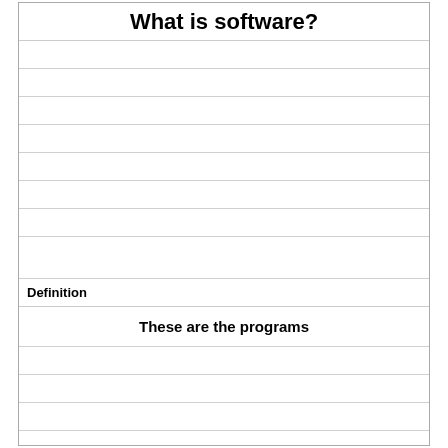What is software?
Definition
These are the programs
Term